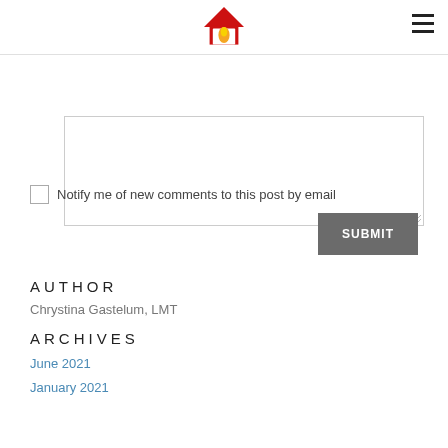[Figure (logo): Red house logo with orange flame inside, hamburger menu icon on right]
[Figure (screenshot): Text area input box, partially visible]
Notify me of new comments to this post by email
SUBMIT
AUTHOR
Chrystina Gastelum, LMT
ARCHIVES
June 2021
January 2021